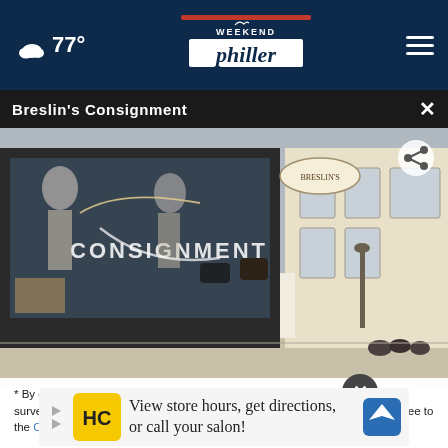77° Weekend Philler
Breslin's Consignment
[Figure (photo): Exterior storefront photo of Breslin's Consignment shop showing display window with mannequins, jewelry, and accessories, and the building facade with signage on a sunny day]
* By clicking "NEXT" you agree to the following: We use cookies to track your survey answers. If you would like to continue with this survey please read and agree to the CivicScience Privacy Policy and Terms of Service.
View store hours, get directions, or call your salon!